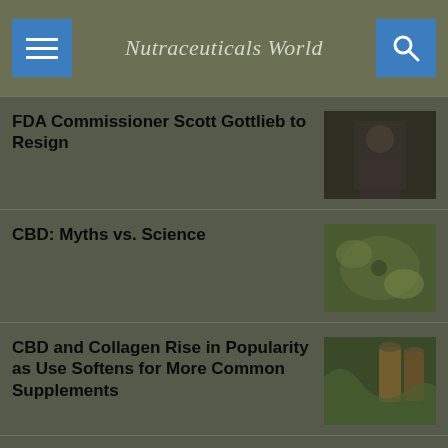Nutraceuticals World
FDA Commissioner Scott Gottlieb to Resign
[Figure (photo): Photo of man in suit, dark background]
CBD: Myths vs. Science
[Figure (photo): Photo of CBD-related botanical/plant material]
CBD and Collagen Rise in Popularity as Use Softens for More Common Supplements
[Figure (photo): Photo of amber bottles with green leaves/cannabis]
[Figure (infographic): Ad banner: KEEP INFORMED - Sign up to receive our free eNewsletter! Nutraceuticals World Magazine]